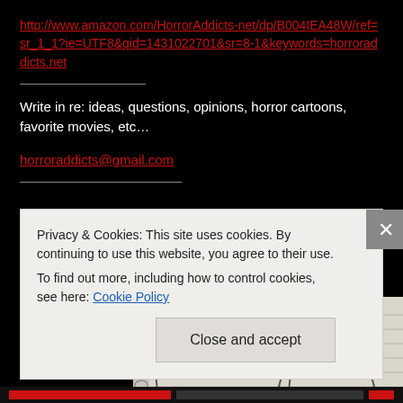http://www.amazon.com/HorrorAddicts-net/dp/B004IEA48W/ref=sr_1_1?ie=UTF8&qid=1431022701&sr=8-1&keywords=horroraddicts.net
Write in re: ideas, questions, opinions, horror cartoons, favorite movies, etc…
horroraddicts@gmail.com
[Figure (illustration): Hand-drawn pencil sketch on lined notebook paper showing two oval/circular shapes, partially visible]
Privacy & Cookies: This site uses cookies. By continuing to use this website, you agree to their use.
To find out more, including how to control cookies, see here: Cookie Policy
Close and accept